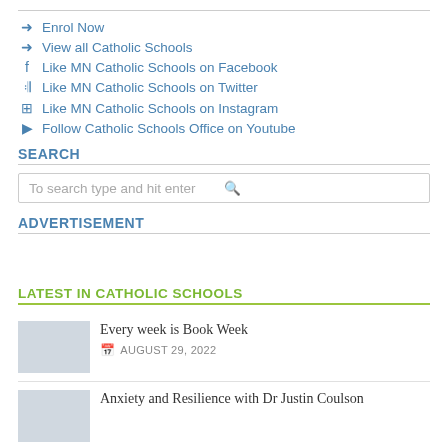➜ Enrol Now
➜ View all Catholic Schools
f  Like MN Catholic Schools on Facebook
🐦 Like MN Catholic Schools on Twitter
📷 Like MN Catholic Schools on Instagram
▶ Follow Catholic Schools Office on Youtube
SEARCH
To search type and hit enter
ADVERTISEMENT
LATEST IN CATHOLIC SCHOOLS
Every week is Book Week
AUGUST 29, 2022
Anxiety and Resilience with Dr Justin Coulson